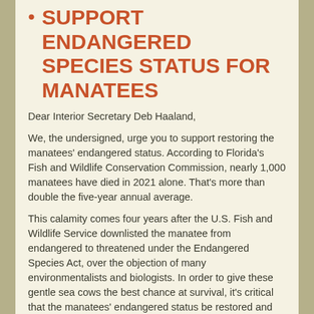SUPPORT ENDANGERED SPECIES STATUS FOR MANATEES
Dear Interior Secretary Deb Haaland,
We, the undersigned, urge you to support restoring the manatees' endangered status. According to Florida's Fish and Wildlife Conservation Commission, nearly 1,000 manatees have died in 2021 alone. That's more than double the five-year annual average.
This calamity comes four years after the U.S. Fish and Wildlife Service downlisted the manatee from endangered to threatened under the Endangered Species Act, over the objection of many environmentalists and biologists. In order to give these gentle sea cows the best chance at survival, it's critical that the manatees' endangered status be restored and their critical habitat protected.
Sincerely,
TELL COSTCO TO COUNT